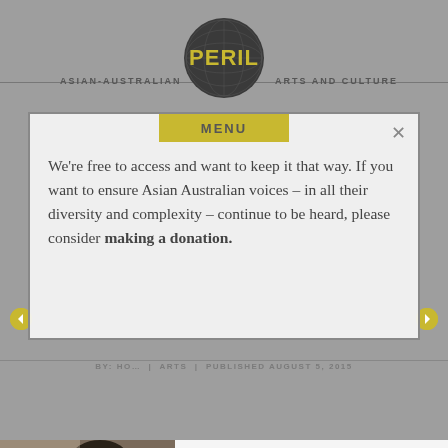[Figure (logo): PERIL magazine logo — circular dark globe with PERIL text in yellow-green]
ASIAN-AUSTRALIAN    ARTS AND CULTURE
BAO CHAN NGUYEN · WRITER PROFILE
BY: HO... | ARTS | PUBLISHED AUGUST 5, 2015
We're free to access and want to keep it that way. If you want to ensure Asian Australian voices – in all their diversity and complexity – continue to be heard, please consider making a donation.
[Figure (photo): Photo of Bao Chan Nguyen – close-up portrait]
Bao Chan Nguyen is a member of the Vietnam Writers Association. She